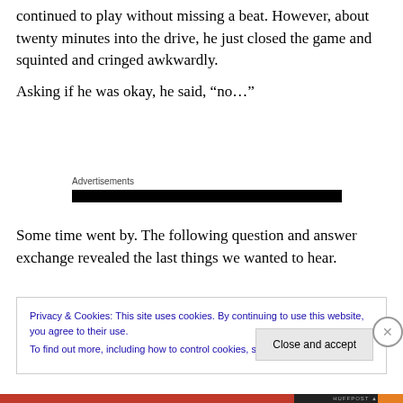continued to play without missing a beat. However, about twenty minutes into the drive, he just closed the game and squinted and cringed awkwardly.
Asking if he was okay, he said, “no…”
Advertisements
Some time went by. The following question and answer exchange revealed the last things we wanted to hear.
Privacy & Cookies: This site uses cookies. By continuing to use this website, you agree to their use.
To find out more, including how to control cookies, see here: Cookie Policy
Close and accept